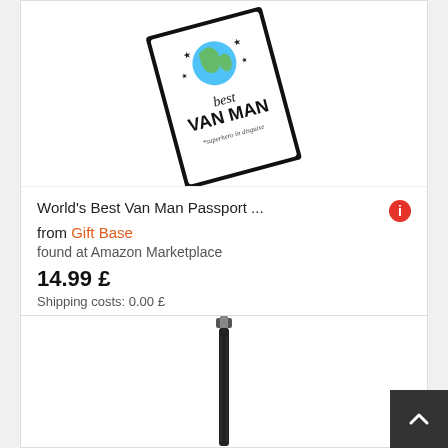[Figure (illustration): World's Best Van Man passport holder product image - a white passport cover with black border showing a globe graphic, text 'best VAN MAN *superhero in disguise', tilted at an angle]
World's Best Van Man Passport ... from Gift Base found at Amazon Marketplace
14.99 £
Shipping costs: 0.00 £
[Figure (photo): Product image showing a black luggage strap or belt accessory, partially visible at bottom of page]